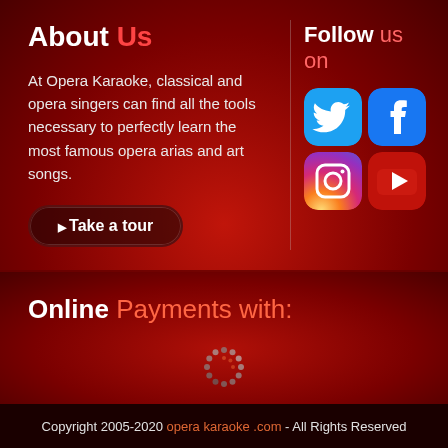About Us
At Opera Karaoke, classical and opera singers can find all the tools necessary to perfectly learn the most famous opera arias and art songs.
Take a tour
Follow us on
[Figure (logo): Social media icons: Twitter (blue bird icon), Facebook (blue f icon), Instagram (gradient camera icon), YouTube (red play button icon)]
Online Payments with:
[Figure (logo): 2Checkout payment logo - circular dotted icon]
2Checkout.com is an authorized retailer for Opera-Karaoke.com
Copyright 2005-2020 opera karaoke .com - All Rights Reserved